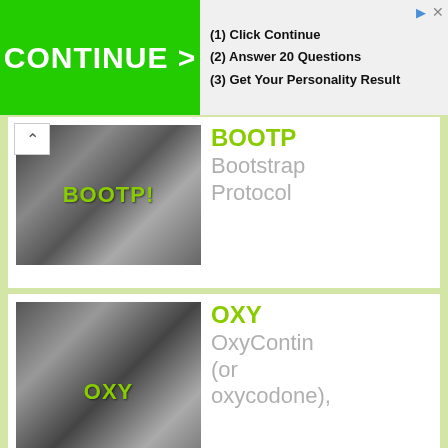[Figure (screenshot): Advertisement banner: green CONTINUE > button on left, steps (1) Click Continue (2) Answer 20 Questions (3) Get Your Personality Result on right]
[Figure (photo): Black and white photo of two people at a table with text overlay BOOTP! in green]
BOOTP
Bootstrap Protocol
[Figure (photo): Black and white photo of three men standing outdoors with text overlay OXY in green]
OXY
OxyContin (or oxycodone),